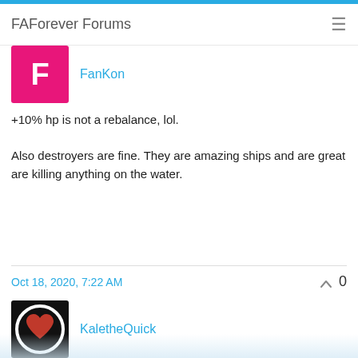FAForever Forums
FanKon
+10% hp is not a rebalance, lol.

Also destroyers are fine. They are amazing ships and are great are killing anything on the water.
Oct 18, 2020, 7:22 AM  0
KaletheQuick
Frigates are supposed to be the 'meat' of naval balance right now. You always need them. I played a game yesterday and took out 4 battleships with frigates because